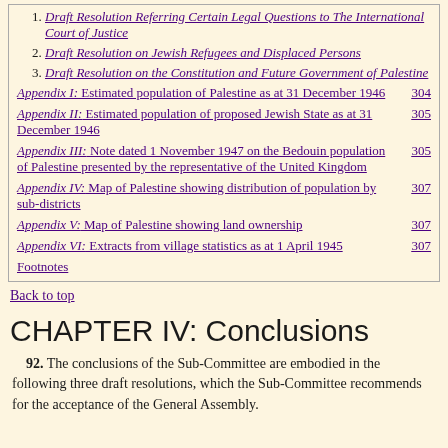1. Draft Resolution Referring Certain Legal Questions to The International Court of Justice
2. Draft Resolution on Jewish Refugees and Displaced Persons
3. Draft Resolution on the Constitution and Future Government of Palestine
Appendix I: Estimated population of Palestine as at 31 December 1946  304
Appendix II: Estimated population of proposed Jewish State as at 31 December 1946  305
Appendix III: Note dated 1 November 1947 on the Bedouin population of Palestine presented by the representative of the United Kingdom  305
Appendix IV: Map of Palestine showing distribution of population by sub-districts  307
Appendix V: Map of Palestine showing land ownership  307
Appendix VI: Extracts from village statistics as at 1 April 1945  307
Footnotes
Back to top
CHAPTER IV: Conclusions
92. The conclusions of the Sub-Committee are embodied in the following three draft resolutions, which the Sub-Committee recommends for the acceptance of the General Assembly.